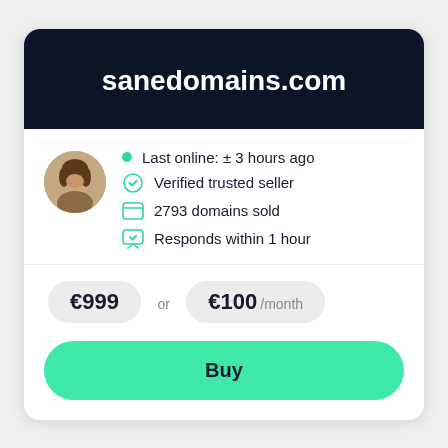sanedomains.com
Last online: ±3 hours ago
Verified trusted seller
2793 domains sold
Responds within 1 hour
€999 or €100 /month
Buy